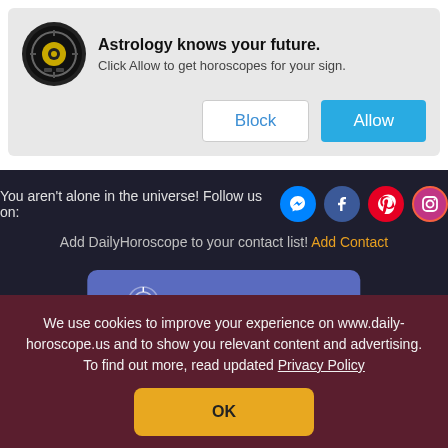[Figure (screenshot): Browser push notification prompt with astrology icon, title 'Astrology knows your future.', subtitle 'Click Allow to get horoscopes for your sign.', and two buttons: Block and Allow]
You aren't alone in the universe! Follow us on:
Add DailyHoroscope to your contact list! Add Contact
Install our web app!
Privacy   Contact us
We use cookies to improve your experience on www.daily-horoscope.us and to show you relevant content and advertising. To find out more, read updated Privacy Policy
OK